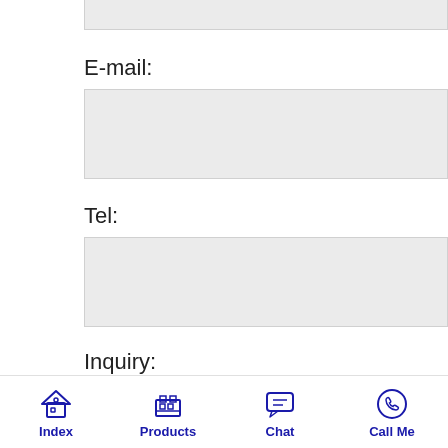E-mail:
Tel:
Inquiry:
[Figure (infographic): Bottom navigation bar with four icons and labels: Index (house icon), Products (machine/factory icon), Chat (speech bubble icon), Call Me (phone circle icon), all in dark blue color.]